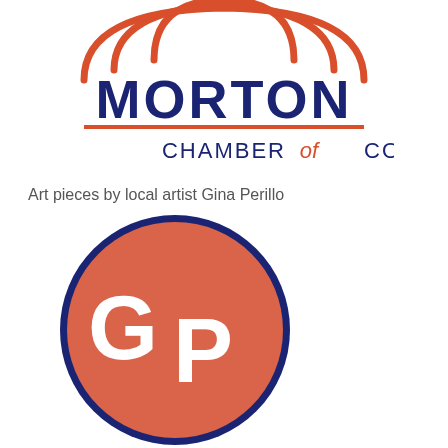[Figure (logo): Morton Chamber of Commerce logo with orange arch/pumpkin shape at top, dark navy blue MORTON text, orange underline, and CHAMBER of COMMERCE text below]
Art pieces by local artist Gina Perillo
[Figure (logo): Gina Perillo artist logo: a coral/orange circle with dark navy blue border containing white interlocked GP letters]